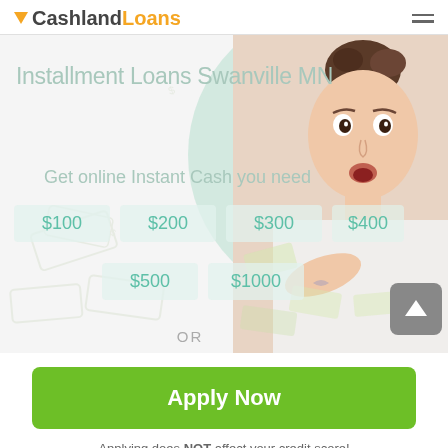CashlandLoans
Installment Loans Swanville MN
Get online Instant Cash you need
$100
$200
$300
$400
$500
$1000
OR
[Figure (photo): Woman with surprised expression holding money, with mint green circle overlay and scattered currency bills]
Apply Now
Applying does NOT affect your credit score!
No credit check to apply.